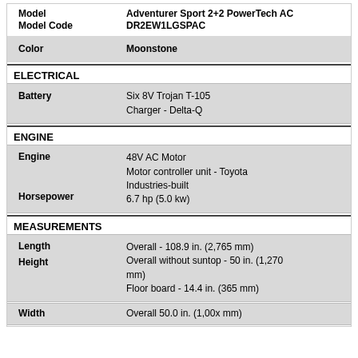| Attribute | Value |
| --- | --- |
| Model | Adventurer Sport 2+2 PowerTech AC |
| Model Code | DR2EW1LGSPAC |
| Color | Moonstone |
| Battery | Six 8V Trojan T-105
Charger - Delta-Q |
| Engine | 48V AC Motor
Motor controller unit - Toyota Industries-built |
| Horsepower | 6.7 hp (5.0 kw) |
| Length | Overall - 108.9 in. (2,765 mm) |
| Height | Overall without suntop - 50 in. (1,270 mm)
Floor board - 14.4 in. (365 mm) |
| Width | Overall 50.0 in. (1,00x mm) |
ELECTRICAL
ENGINE
MEASUREMENTS